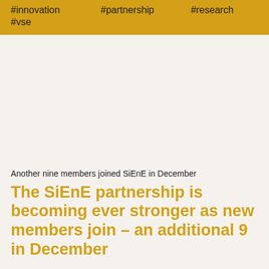#innovation
#partnership
#research
#vse
Another nine members joined SiEnE in December
The SiEnE partnership is becoming ever stronger as new members join – an additional 9 in December